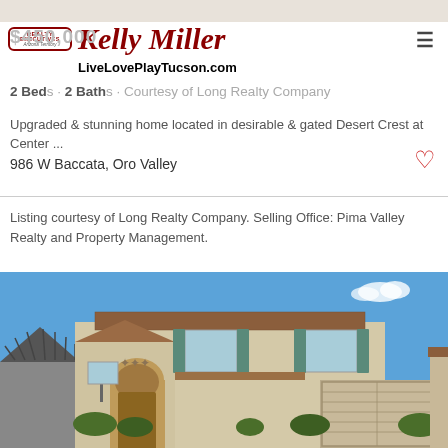[Figure (logo): Realty Executives Arizona Territory logo with Kelly Miller script text and LiveLovePlayTucson.com website]
$450,000
2 Beds · 2 Baths · Courtesy of Long Realty Company
Upgraded & stunning home located in desirable & gated Desert Crest at Center ...
986 W Baccata, Oro Valley
Listing courtesy of Long Realty Company. Selling Office: Pima Valley Realty and Property Management.
[Figure (photo): Two-story tan/beige stucco Mediterranean-style home with teal/green shutters, arched entryway, two-car garage, tile roof, blue sky background]